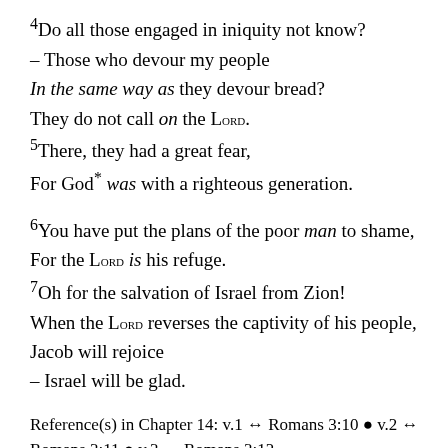4Do all those engaged in iniquity not know?
– Those who devour my people
In the same way as they devour bread?
They do not call on the Lord.
5There, they had a great fear,
For God* was with a righteous generation.
6You have put the plans of the poor man to shame,
For the Lord is his refuge.
7Oh for the salvation of Israel from Zion!
When the Lord reverses the captivity of his people,
Jacob will rejoice
– Israel will be glad.
Reference(s) in Chapter 14: v.1 ↔ Romans 3:10 • v.2 ↔ Romans 3:11 • v.3 ↔ Romans 3:12.